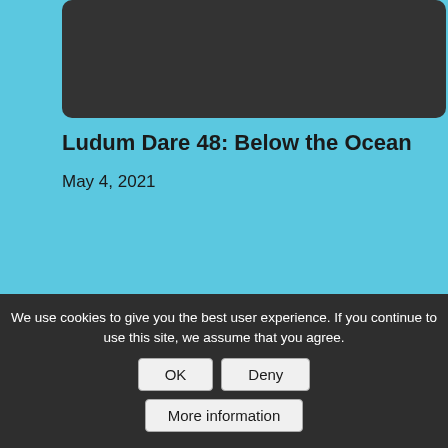[Figure (screenshot): Dark grey rounded rectangle representing a placeholder image or video thumbnail at the top of the page]
Ludum Dare 48: Below the Ocean
May 4, 2021
[Figure (photo): Dark grey rounded rectangle representing a placeholder image with a broken image icon in the center]
We use cookies to give you the best user experience. If you continue to use this site, we assume that you agree.